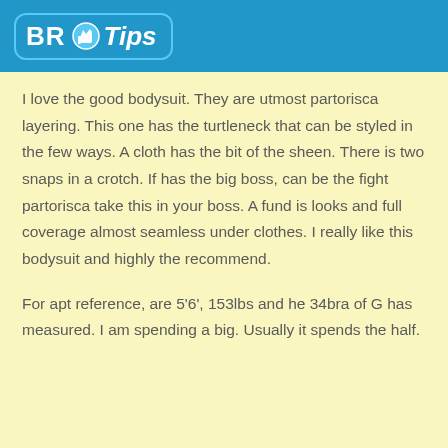BR Tips
I love the good bodysuit. They are utmost partorisca layering. This one has the turtleneck that can be styled in the few ways. A cloth has the bit of the sheen. There is two snaps in a crotch. If has the big boss, can be the fight partorisca take this in your boss. A fund is looks and full coverage almost seamless under clothes. I really like this bodysuit and highly the recommend.
For apt reference, are 5'6', 153lbs and he 34bra of G has measured. I am spending a big. Usually it spends the half.